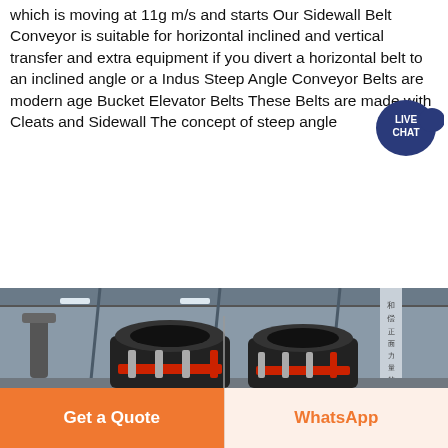which is moving at 11g m/s and starts Our Sidewall Belt Conveyor is suitable for horizontal inclined and vertical transfer and extra equipment if you divert a horizontal belt to an inclined angle or a Indus Steep Angle Conveyor Belts are modern age Bucket Elevator Belts These Belts are made with Cleats and Sidewall The concept of steep angle
[Figure (illustration): Live Chat badge/icon in dark navy blue circle with chat bubble tail]
Learn More
[Figure (photo): Factory floor photo showing large industrial mining/cone crusher machines in dark red/black colors inside a steel-framed warehouse. Chinese text visible on a sign in the background.]
Get a Quote
WhatsApp